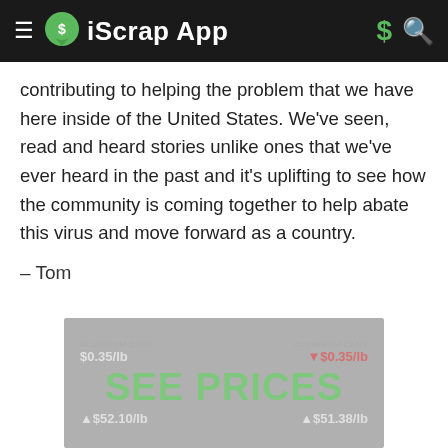iScrap App
contributing to helping the problem that we have here inside of the United States. We’ve seen, read and heard stories unlike ones that we’ve ever heard in the past and it’s uplifting to see how the community is coming together to help abate this virus and move forward as a country.
– Tom
[Figure (screenshot): Advertisement banner showing scrap metal prices with text SEE PRICES, showing $0.35/lb top left, a red price top right, $52.10/lb bottom left, $51.38/lb bottom right, on a gray background]